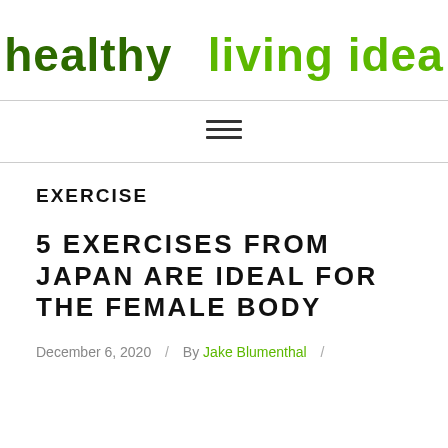healthy living idea
[Figure (other): Hamburger menu icon (three horizontal lines)]
EXERCISE
5 EXERCISES FROM JAPAN ARE IDEAL FOR THE FEMALE BODY
December 6, 2020 / By Jake Blumenthal /